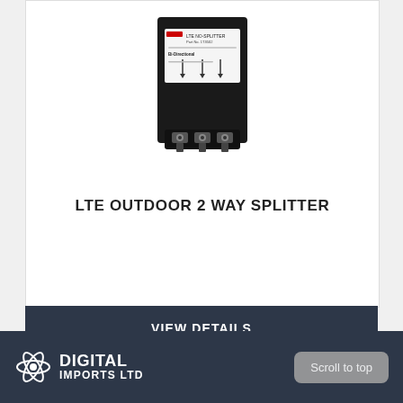[Figure (photo): LTE outdoor 2-way splitter device — a black housing with a white label panel showing 'LTE NO-SPLITTER' and three coaxial connector ports at the bottom.]
LTE OUTDOOR 2 WAY SPLITTER
VIEW DETAILS
[Figure (logo): Digital Imports Ltd logo — atom/orbit icon alongside bold text 'DIGITAL IMPORTS LTD' in white on dark background]
Scroll to top